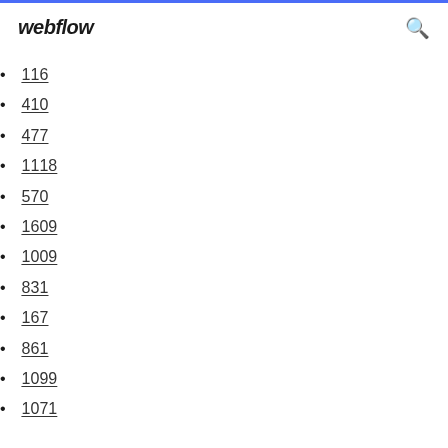webflow
116
410
477
1118
570
1609
1009
831
167
861
1099
1071